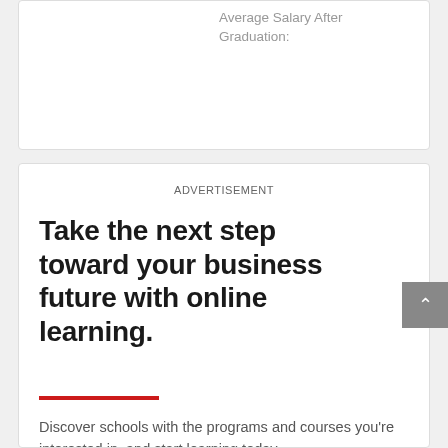Average Salary After Graduation:
ADVERTISEMENT
Take the next step toward your business future with online learning.
Discover schools with the programs and courses you're interested in, and start learning today.
I WANT MY
Master's